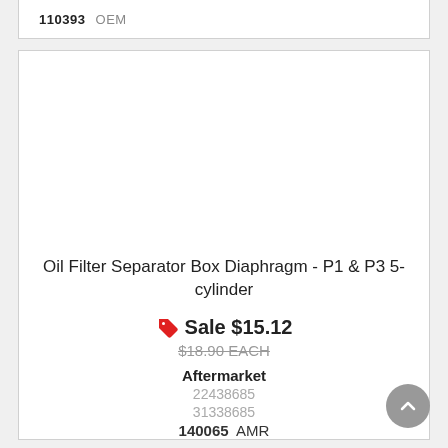110393 OEM
Oil Filter Separator Box Diaphragm - P1 & P3 5-cylinder
Sale $15.12
$18.90 EACH
Aftermarket
22438685
31338685
140065 AMR